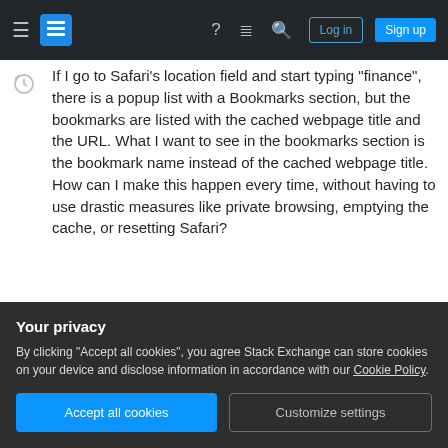Stack Exchange navigation bar with Log in and Sign up buttons
If I go to Safari's location field and start typing "finance", there is a popup list with a Bookmarks section, but the bookmarks are listed with the cached webpage title and the URL. What I want to see in the bookmarks section is the bookmark name instead of the cached webpage title. How can I make this happen every time, without having to use drastic measures like private browsing, emptying the cache, or resetting Safari?
safari
bookmarks
Your privacy
By clicking "Accept all cookies", you agree Stack Exchange can store cookies on your device and disclose information in accordance with our Cookie Policy.
Accept all cookies   Customize settings